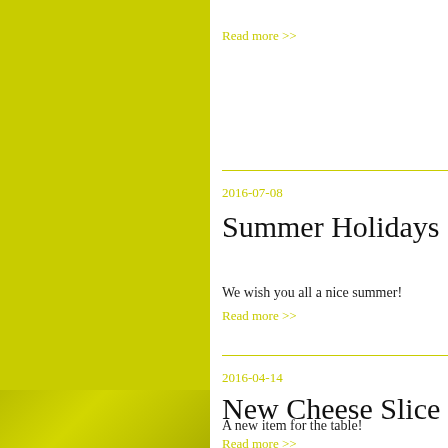Read more >>
2016-07-08
Summer Holidays
We wish you all a nice summer!
Read more >>
2016-04-14
New Cheese Slice
A new item for the table!
Read more >>